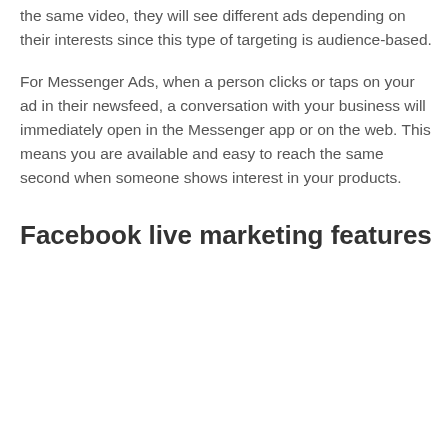the same video, they will see different ads depending on their interests since this type of targeting is audience-based.
For Messenger Ads, when a person clicks or taps on your ad in their newsfeed, a conversation with your business will immediately open in the Messenger app or on the web. This means you are available and easy to reach the same second when someone shows interest in your products.
Facebook live marketing features